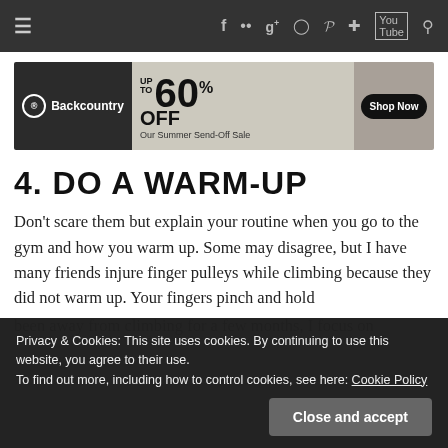≡  f  ••  g+  ○  p  🐦  YouTube  🔍
[Figure (other): Backcountry ad banner: up to 60% OFF Our Summer Send-Off Sale, Shop Now button]
4. DO A WARM-UP
Don't scare them but explain your routine when you go to the gym and how you warm up. Some may disagree, but I have many friends injure finger pulleys while climbing because they did not warm up. Your fingers pinch and hold
been away from climbing for a few months, I focus on
Privacy & Cookies: This site uses cookies. By continuing to use this website, you agree to their use. To find out more, including how to control cookies, see here: Cookie Policy
Close and accept